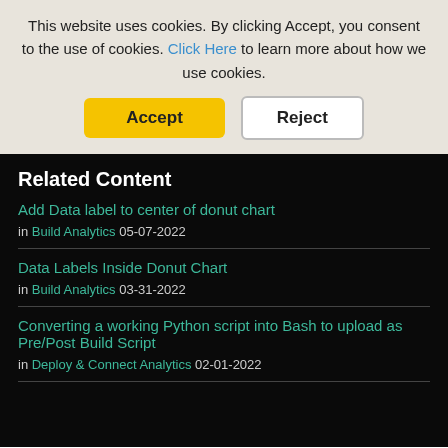This website uses cookies. By clicking Accept, you consent to the use of cookies. Click Here to learn more about how we use cookies.
Accept | Reject
Related Content
Add Data label to center of donut chart
in Build Analytics 05-07-2022
Data Labels Inside Donut Chart
in Build Analytics 03-31-2022
Converting a working Python script into Bash to upload as Pre/Post Build Script
in Deploy & Connect Analytics 02-01-2022